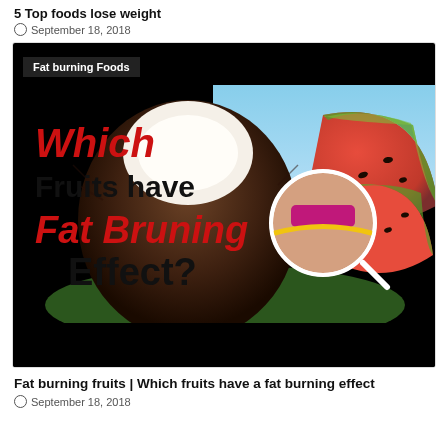5 Top foods lose weight
September 18, 2018
[Figure (photo): Promotional image for 'Fat burning Foods' article showing coconut, watermelon slices, and a woman measuring her waist with a tape measure. Text overlay reads: 'Which Fruits have Fat Bruning Effect?' with 'Which' and 'Fat Bruning' in red, rest in black.]
Fat burning fruits | Which fruits have a fat burning effect
September 18, 2018